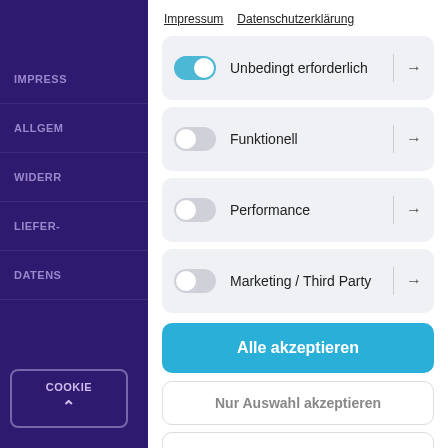Impressum · Datenschutzerklärung
Unbedingt erforderlich
Funktionell
Performance
Marketing / Third Party
Alle akzeptieren
Nur Auswahl akzeptieren
Alle ablehnen